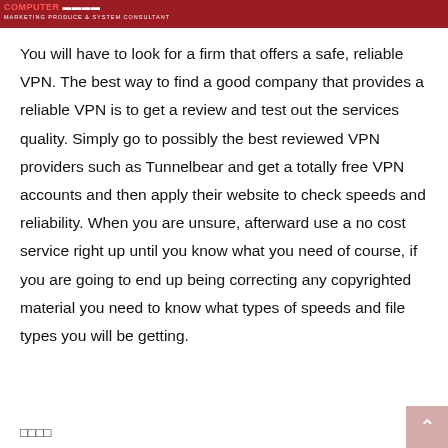computer MARKETING PRODUCE & SYSTEM CONSULTANT
You will have to look for a firm that offers a safe, reliable VPN. The best way to find a good company that provides a reliable VPN is to get a review and test out the services quality. Simply go to possibly the best reviewed VPN providers such as Tunnelbear and get a totally free VPN accounts and then apply their website to check speeds and reliability. When you are unsure, afterward use a no cost service right up until you know what you need of course, if you are going to end up being correcting any copyrighted material you need to know what types of speeds and file types you will be getting.
□□□□